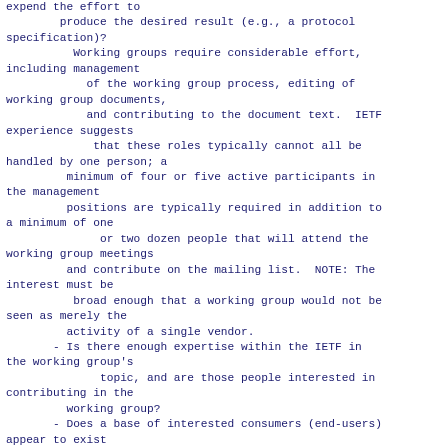expend the effort to
        produce the desired result (e.g., a protocol specification)?
         Working groups require considerable effort, including management
            of the working group process, editing of working group documents,
            and contributing to the document text.  IETF experience suggests
             that these roles typically cannot all be handled by one person; a
         minimum of four or five active participants in the management
         positions are typically required in addition to a minimum of one
              or two dozen people that will attend the working group meetings
         and contribute on the mailing list.  NOTE: The interest must be
          broad enough that a working group would not be seen as merely the
         activity of a single vendor.
       - Is there enough expertise within the IETF in the working group's
              topic, and are those people interested in contributing in the
         working group?
       - Does a base of interested consumers (end-users) appear to exist
         for the planned work?  Consumer interest can be measured by